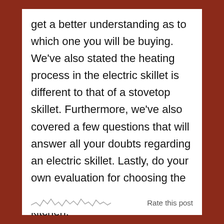get a better understanding as to which one you will be buying. We've also stated the heating process in the electric skillet is different to that of a stovetop skillet. Furthermore, we've also covered a few questions that will answer all your doubts regarding an electric skillet. Lastly, do your own evaluation for choosing the perfect electric skillet for your kitchen.
Rate this post